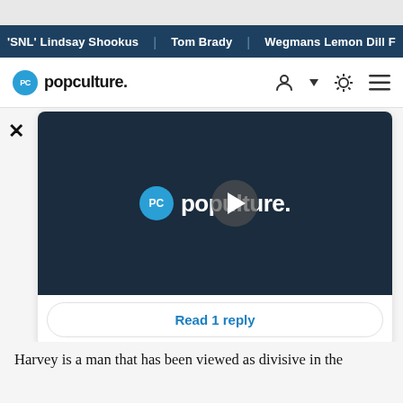'SNL' Lindsay Shookus | Tom Brady | Wegmans Lemon Dill F
[Figure (logo): Popculture.com navigation bar with logo, user icon, settings icon, and hamburger menu]
[Figure (screenshot): Video player card showing popculture.com logo with play button overlay on dark background, with 'Read 1 reply' button below]
Harvey is a man that has been viewed as divisive in the